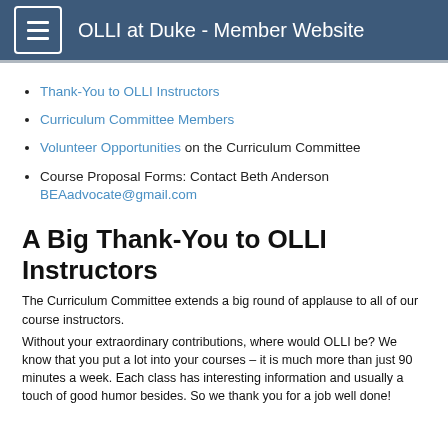OLLI at Duke - Member Website
Thank-You to OLLI Instructors
Curriculum Committee Members
Volunteer Opportunities on the Curriculum Committee
Course Proposal Forms: Contact Beth Anderson BEAadvocate@gmail.com
A Big Thank-You to OLLI Instructors
The Curriculum Committee extends a big round of applause to all of our course instructors.
Without your extraordinary contributions, where would OLLI be? We know that you put a lot into your courses – it is much more than just 90 minutes a week. Each class has interesting information and usually a touch of good humor besides. So we thank you for a job well done!